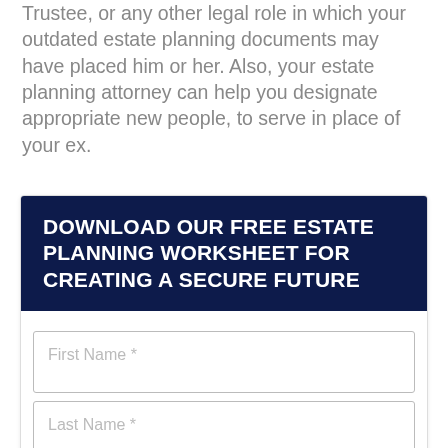Trustee, or any other legal role in which your outdated estate planning documents may have placed him or her. Also, your estate planning attorney can help you designate appropriate new people, to serve in place of your ex.
DOWNLOAD OUR FREE ESTATE PLANNING WORKSHEET FOR CREATING A SECURE FUTURE
First Name *
Last Name *